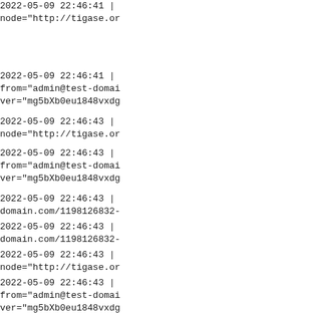2022-05-09 22:46:41 | node="http://tigase.or
2022-05-09 22:46:41 | from="admin@test-domai ver="mg5bXb0eu1848vxdg
2022-05-09 22:46:43 | node="http://tigase.or
2022-05-09 22:46:43 | from="admin@test-domai ver="mg5bXb0eu1848vxdg
2022-05-09 22:46:43 | domain.com/1198126832-
2022-05-09 22:46:43 | domain.com/1198126832-
2022-05-09 22:46:43 | node="http://tigase.or
2022-05-09 22:46:43 | from="admin@test-domai ver="mg5bXb0eu1848vxdg